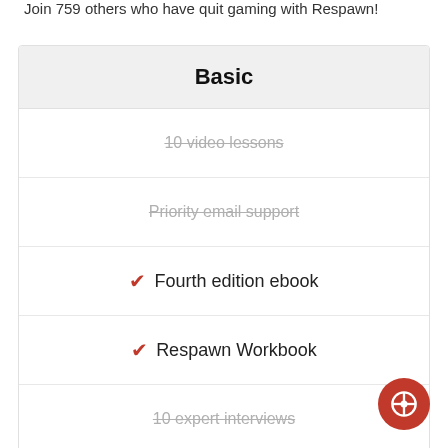Join 759 others who have quit gaming with Respawn!
Basic
10 video lessons
Priority email support
Fourth edition ebook
Respawn Workbook
10 expert interviews
Access to private community